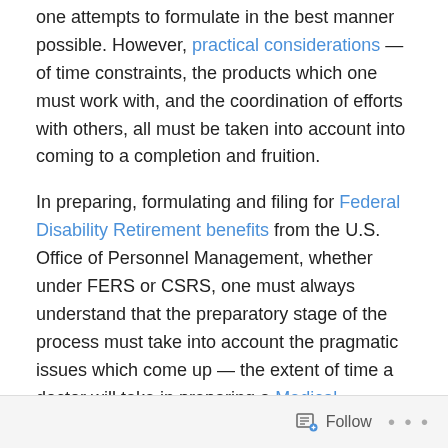one attempts to formulate in the best manner possible. However, practical considerations — of time constraints, the products which one must work with, and the coordination of efforts with others, all must be taken into account into coming to a completion and fruition.
In preparing, formulating and filing for Federal Disability Retirement benefits from the U.S. Office of Personnel Management, whether under FERS or CSRS, one must always understand that the preparatory stage of the process must take into account the pragmatic issues which come up — the extent of time a doctor will take in preparing a Medical Narrative Report; the constraints imposed by the duties of one's position description; and, of course, time constraints of filing a case in a timely manner.
Follow